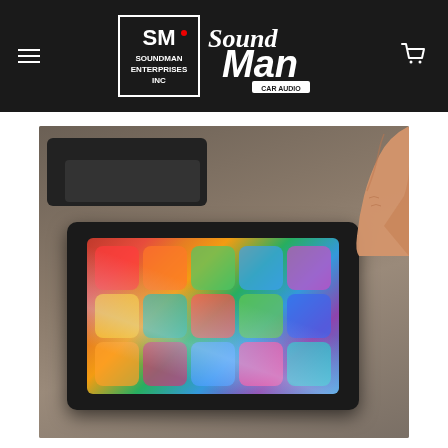Soundman Enterprises Inc / Sound Man Car Audio – navigation header with hamburger menu and cart icon
[Figure (photo): A hand pointing or touching an iPad mounted in a black flat tray/bezel on a concrete workbench surface. A second empty black tray is visible in the upper left background.]